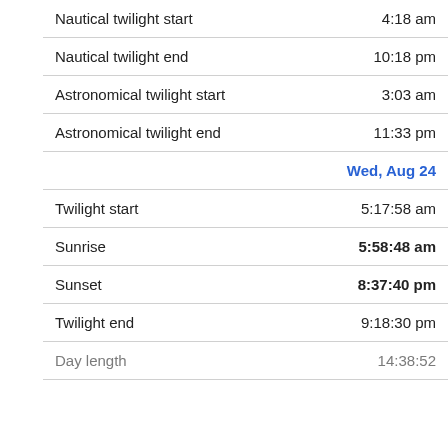| Nautical twilight start | 4:18 am |
| Nautical twilight end | 10:18 pm |
| Astronomical twilight start | 3:03 am |
| Astronomical twilight end | 11:33 pm |
| Wed, Aug 24 |  |
| Twilight start | 5:17:58 am |
| Sunrise | 5:58:48 am |
| Sunset | 8:37:40 pm |
| Twilight end | 9:18:30 pm |
| Day length | 14:38:52 |